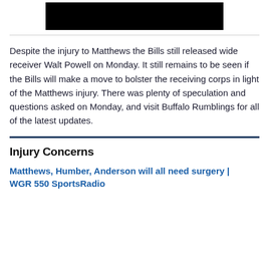[Figure (photo): Black rectangle image placeholder at top of page]
Despite the injury to Matthews the Bills still released wide receiver Walt Powell on Monday. It still remains to be seen if the Bills will make a move to bolster the receiving corps in light of the Matthews injury. There was plenty of speculation and questions asked on Monday, and visit Buffalo Rumblings for all of the latest updates.
Injury Concerns
Matthews, Humber, Anderson will all need surgery | WGR 550 SportsRadio